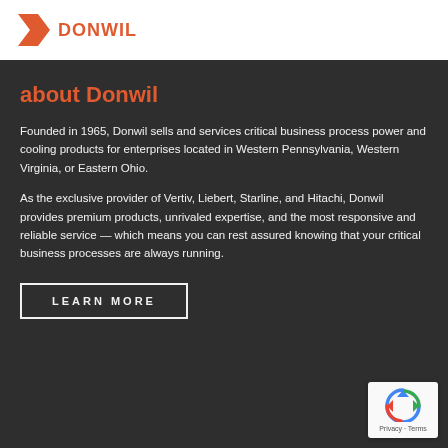[Figure (logo): Donwil company logo with red arrow/chevron icon and red company name text]
about Donwil
Founded in 1965, Donwil sells and services critical business process power and cooling products for enterprises located in Western Pennsylvania, Western Virginia, or Eastern Ohio.
As the exclusive provider of Vertiv, Liebert, Starline, and Hitachi, Donwil provides premium products, unrivaled expertise, and the most responsive and reliable service — which means you can rest assured knowing that your critical business processes are always running.
LEARN MORE
[Figure (logo): Google reCAPTCHA badge with recycling-style arrow icon and Privacy · Terms text]